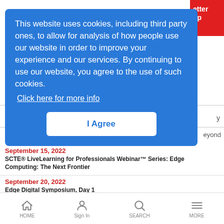[Figure (screenshot): Cookie consent overlay on a website. Blue rounded rectangle with white text reading: 'This website uses cookies, including third party ones, to allow for analysis of how people use our website in order to improve your experience and our services. By continuing to use our website, you agree to the use of such cookies. Click here for more info' and a white 'I Agree' button.]
September 15, 2022
SCTE® LiveLearning for Professionals Webinar™ Series: Edge Computing: The Next Frontier
September 20, 2022
Edge Digital Symposium, Day 1
September 21, 2022
HOME   Sign In   SEARCH   MORE